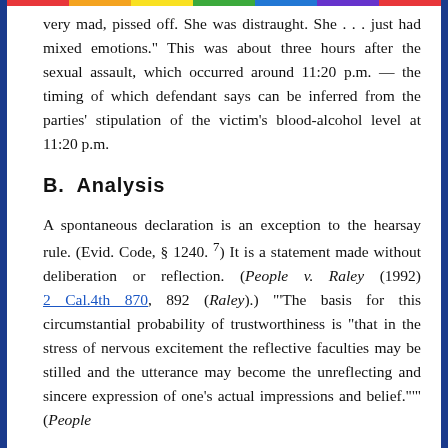very mad, pissed off. She was distraught. She . . . just had mixed emotions." This was about three hours after the sexual assault, which occurred around 11:20 p.m. — the timing of which defendant says can be inferred from the parties' stipulation of the victim's blood-alcohol level at 11:20 p.m.
B.  Analysis
A spontaneous declaration is an exception to the hearsay rule. (Evid. Code, § 1240. 7) It is a statement made without deliberation or reflection. (People v. Raley (1992) 2 Cal.4th 870, 892 (Raley).) "'The basis for this circumstantial probability of trustworthiness is "that in the stress of nervous excitement the reflective faculties may be stilled and the utterance may become the unreflecting and sincere expression of one's actual impressions and belief."'" (People